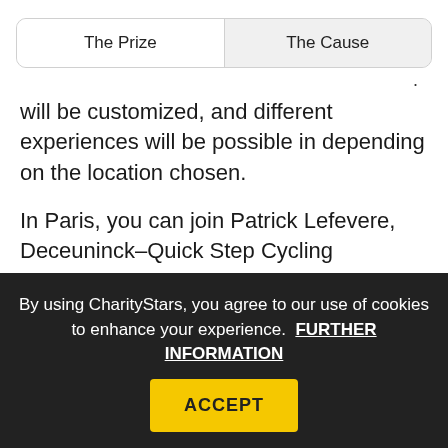| The Prize | The Cause |
| --- | --- |
will be customized, and different experiences will be possible in depending on the location chosen.
In Paris, you can join Patrick Lefevere, Deceuninck–Quick Step Cycling Manager, for dinner one evening, and join the entire team for aperitif and dinner another evening.
By using CharityStars, you agree to our use of cookies to enhance your experience.  FURTHER INFORMATION
ACCEPT